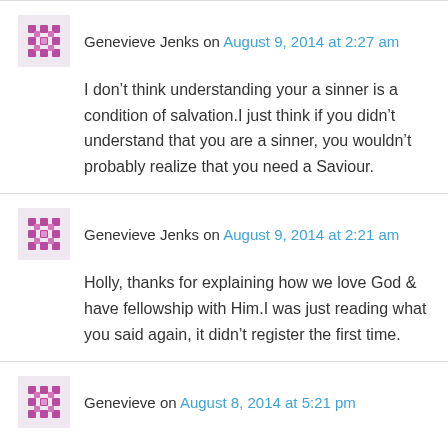Genevieve Jenks on August 9, 2014 at 2:27 am
I don't think understanding your a sinner is a condition of salvation.I just think if you didn't understand that you are a sinner, you wouldn't probably realize that you need a Saviour.
Genevieve Jenks on August 9, 2014 at 2:21 am
Holly, thanks for explaining how we love God & have fellowship with Him.I was just reading what you said again, it didn't register the first time.
Genevieve on August 8, 2014 at 5:21 pm